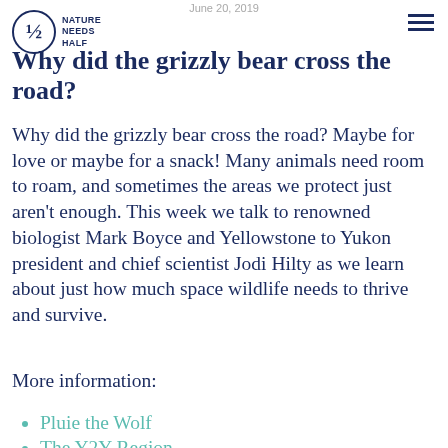June 20, 2019
[Figure (logo): Nature Needs Half logo — circular emblem with '½' and text 'NATURE NEEDS HALF']
Why did the grizzly bear cross the road?
Why did the grizzly bear cross the road? Maybe for love or maybe for a snack! Many animals need room to roam, and sometimes the areas we protect just aren't enough. This week we talk to renowned biologist Mark Boyce and Yellowstone to Yukon president and chief scientist Jodi Hilty as we learn about just how much space wildlife needs to thrive and survive.
More information:
Pluie the Wolf
The Y2Y Region...